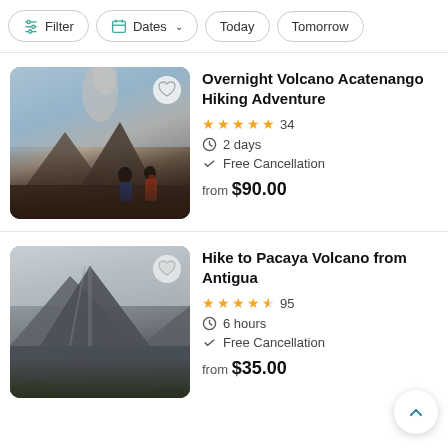[Figure (screenshot): Mobile app listing page showing filter bar with Filter, Dates, Today, Tomorrow buttons, and two tour listing cards: Overnight Volcano Acatenango Hiking Adventure and Hike to Pacaya Volcano from Antigua]
Overnight Volcano Acatenango Hiking Adventure
★★★★★ 34 | 2 days | Free Cancellation | from $90.00
Hike to Pacaya Volcano from Antigua
★★★★½ 95 | 6 hours | Free Cancellation | from $35.00